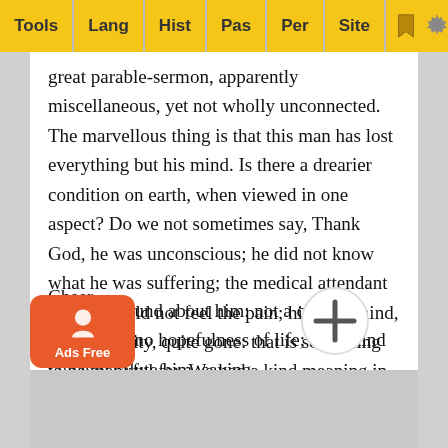Tools | Lang | Hist | Pas | Per | Site
great parable-sermon, apparently miscellaneous, yet not wholly unconnected. The marvellous thing is that this man has lost everything but his mind. Is there a drearier condition on earth, when viewed in one aspect? Do we not sometimes say, Thank God, he was unconscious; he did not know what he was suffering; the medical attendant says he could not feel the pain; his poor mind, his sensibility, quite gone: that is something to be thankful for. We had a kind meaning in that comment. But here is a man whose mind is twice quickened more a mind than it ever was. He feels a shadow; a spirit cannot pass before him without some sign of masonry, without some signal which the too-quickened mind of Job would instantly understand. All gone: the grave all set in order before him: the remembered prosperity hanging like a cloud all round about him: not a child to touch him: no hopefulness of life; not a kind voice to salute him, saying, Cheer… …e angel… …of light…